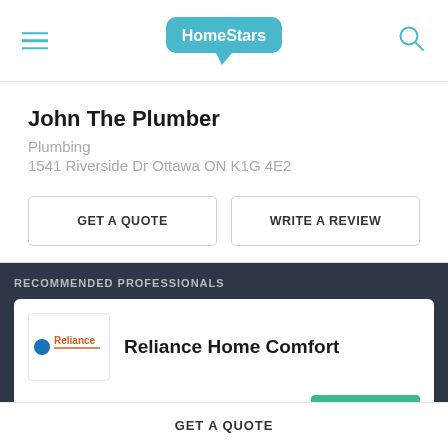HomeStars
John The Plumber
Plumbing
1541 Riverside Dr Ottawa ON K1G 4E2
GET A QUOTE
WRITE A REVIEW
RECOMMENDED PROFESSIONALS
Reliance Home Comfort
85% (12725 reviews)
GET A QUOTE
GET A QUOTE